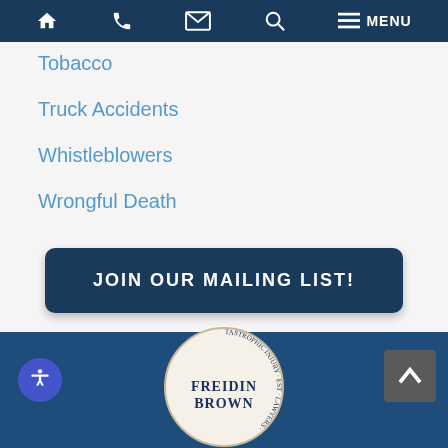Navigation bar with home, phone, mail, search, menu icons
Tobacco
Truck Accidents
Whistleblowers
Wrongful Death
JOIN OUR MAILING LIST!
[Figure (logo): Freidin Brown law firm circular logo with text: MEDICAL MALPRACTICE · CATASTROPHIC INJURY · EST · LAWYERS around the border, and FREIDIN BROWN in the center]
Footer with accessibility icon, Freidin Brown logo, and back-to-top arrow